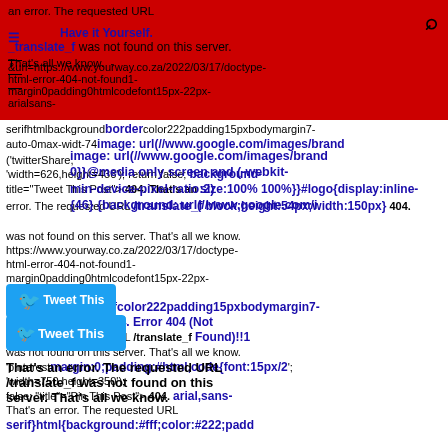an error. The requested URL /translate_f was not found on this server. That's all we know. - &url=https://www.yourway.co.za/2022/03/17/doctype-html-error-404-not-found1-margin0padding0htmlcodefont15px-22px-arialsans-serifhtmlbackground#fffcolor222padding15pxbodymargin7-auto-0max-widt-746
Have it Yourself.
[Figure (screenshot): Red navigation bar with hamburger menu and search icon on right]
border image: url(//www.google.com/images/brand0}}@media only screen and (-webkit-min-device-pixel-ratio:2) {46} {background: url(//www.google.com/i twitterShare, 'width=626,height=436'); return false; background-size:100% 100%}}#logo{display:inline-block;height:54px;width:150px} 404. That's an error. The requested URL /translate_f was not found on this server. That's all we know. https://www.yourway.co.za/2022/03/17/doctype-html-error-404-not-found1-margin0padding0htmlcodefont15px-22px-arialsans-serifhtmlbackground#fffcolor222padding15pxbodymargin7-auto-0max-widt-746
[Figure (screenshot): Twitter share button (blue rounded rectangle with Twitter bird icon)]
That's an error. The requested URL /translate_f was not found on this server. That's all we know.
<!DOCTYPE html> 404. Error 404 (Not Found)!!1 margin:0;padding:#html,code{font:15px/2 arial,sans-serif}html{background:#fff;color:#222;padd auto;max-width:390px;min-height:180px;padding:30px 0 15px}* > body{background:url(//www.google.com/im 100% 5px no-repeat;padding-
[Figure (screenshot): WhatsApp green circle share button alongside a cat photo thumbnail]
[Figure (screenshot): Pinterest red share button]
/translate_f was not found on this server. That's all we know. I found this article interesting and thought of sharing it with you. Check it out: